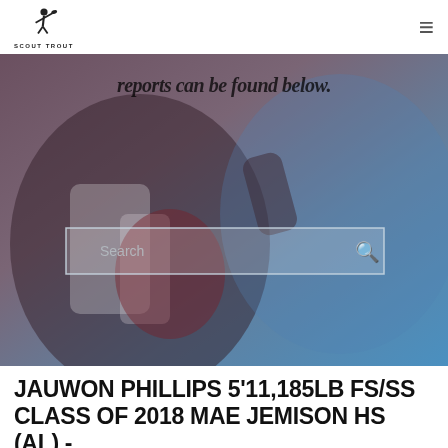SCOUT TROUT
[Figure (photo): Hero image showing a football player catching/holding a football, with a search bar overlay. Partially visible italic text reads 'reports can be found below'. Background has dark purple/blue tones on left and lighter blue on right.]
JAUWON PHILLIPS 5'11,185LB FS/SS CLASS OF 2018 MAE JEMISON HS (AL) - ALL-AMERICAN REPORT